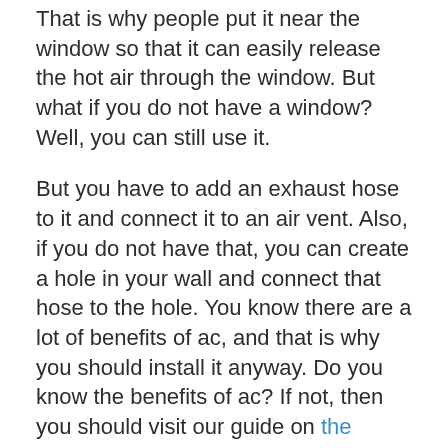That is why people put it near the window so that it can easily release the hot air through the window. But what if you do not have a window? Well, you can still use it.
But you have to add an exhaust hose to it and connect it to an air vent. Also, if you do not have that, you can create a hole in your wall and connect that hose to the hole. You know there are a lot of benefits of ac, and that is why you should install it anyway. Do you know the benefits of ac? If not, then you should visit our guide on the benefits of air conditioners.
Are There Portable Air Conditioners Without Exhaust Hose?